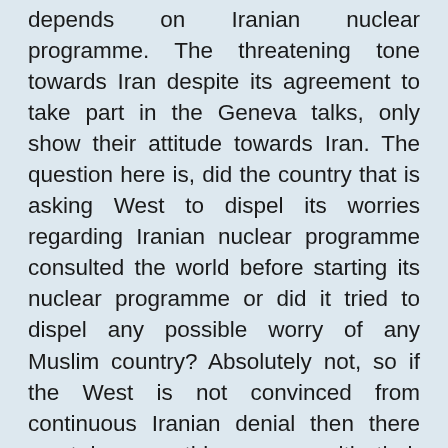depends on Iranian nuclear programme. The threatening tone towards Iran despite its agreement to take part in the Geneva talks, only show their attitude towards Iran. The question here is, did the country that is asking West to dispel its worries regarding Iranian nuclear programme consulted the world before starting its nuclear programme or did it tried to dispel any possible worry of any Muslim country? Absolutely not, so if the West is not convinced from continuous Iranian denial then there must be something wrong with their intentions and not Iran. It should be lauded for agreeing to enter into talks with the six powers despite having the right to